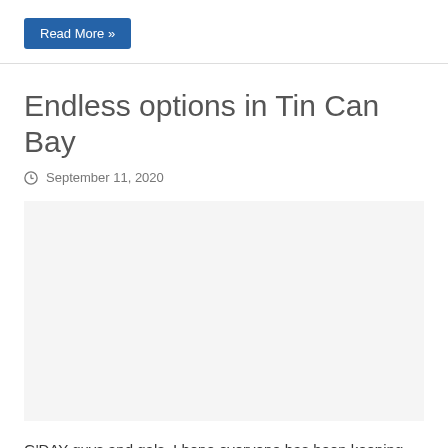Read More »
Endless options in Tin Can Bay
September 11, 2020
[Figure (photo): Image placeholder area for article photo]
G'DAY guys and gals, I hope everyone has been keeping well and getting out and wetting a line. With the relaxation in the COVID-19